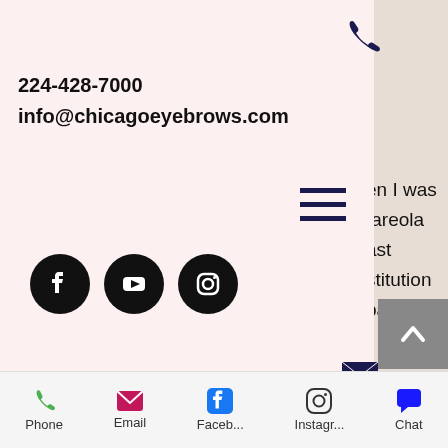[Figure (screenshot): Mobile website screenshot showing a dropdown contact panel over a review page for chicagoeyebrows.com]
224-428-7000
info@chicagoeyebrows.com
[Figure (infographic): Social media icons: Facebook, YouTube, Instagram in black circles]
when I had a ton of questions even before registering for her course. She is so good at teaching things simply and is so passionate about what she does. So much so that she wants you to stay in contact with her even after the course ends to ensure the best care for your patients/clients. I would definitely recommend Gina if you're looking for a 3d nipple tattoo or PMU course!
Phone  Email  Faceb...  Instagr...  Chat